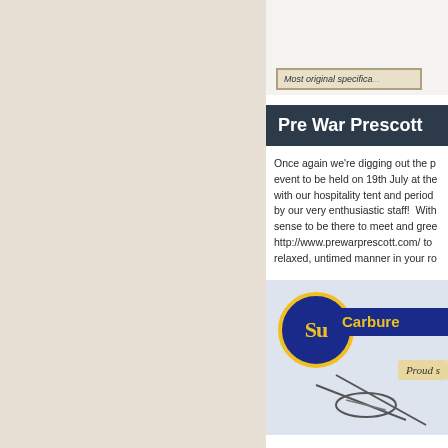[Figure (photo): Stone/wooden label or sign with text 'Most original specifica...' visible at the top right, partially cropped]
Pre War Prescott
Once again we're digging out the p... event to be held on 19th July at the... with our hospitality tent and period ... by our very enthusiastic staff!  With... sense to be there to meet and gree... http://www.prewarprescott.com/ to... relaxed, untimed manner in your ro...
[Figure (logo): SU Carburettors logo with circular SU badge in gold and blue, blue banner with 'Carbure...' text in yellow, and 'Proud s...' banner below with a carburettor diagram]